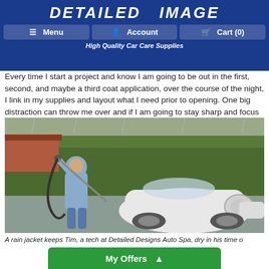DETAILED IMAGE
Menu | Account | Cart (0) | High Quality Car Care Supplies
Every time I start a project and know I am going to be out in the first, second, and maybe a third coat application, over the course of the night, I link in my supplies and layout what I need prior to opening. One big distraction can throw me over and if I am going to stay sharp and focus on the project at hand, I need it covered up.
[Figure (photo): A person in a grey hooded rain jacket pressure washing the front of a white Porsche 911 in a parking lot on a rainy day, with trees and a building visible in the background.]
A rain jacket keeps Tim, a tech at Detailed Designs Auto Spa, dry in his time of need.
My Offers